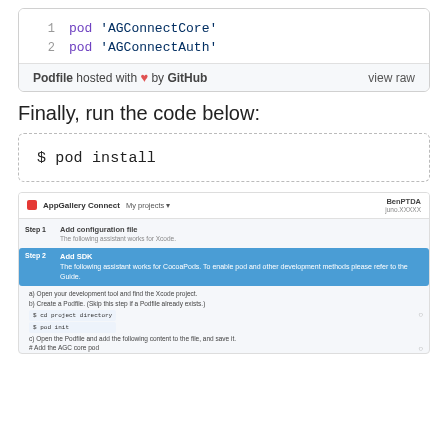[Figure (screenshot): GitHub Gist code block showing a Podfile with two lines: pod 'AGConnectCore' and pod 'AGConnectAuth', with a footer saying 'Podfile hosted with ❤ by GitHub' and a 'view raw' link on the right.]
Finally, run the code below:
[Figure (screenshot): Terminal/command-line code block showing: $ pod install]
[Figure (screenshot): AppGallery Connect web UI screenshot showing Step 1 'Add configuration file' and Step 2 'Add SDK' (highlighted in blue) with instructions for adding the AGConnect SDK via CocoaPods, including code snippets, checkboxes, and Previous/Next/Cancel buttons.]